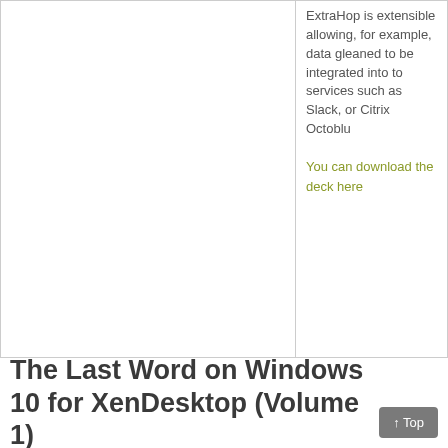ExtraHop is extensible allowing, for example, data gleaned to be integrated into to services such as Slack, or Citrix Octoblu
You can download the deck here
The Last Word on Windows 10 for XenDesktop (Volume 1)